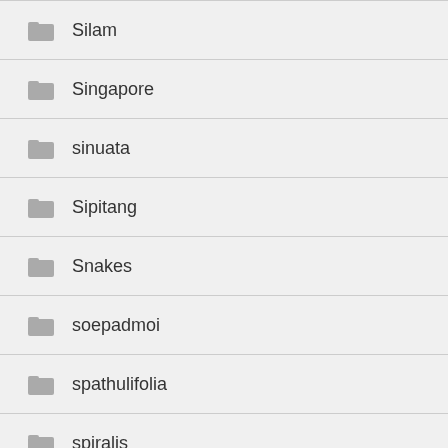Silam
Singapore
sinuata
Sipitang
Snakes
soepadmoi
spathulifolia
spiralis
Squirrels